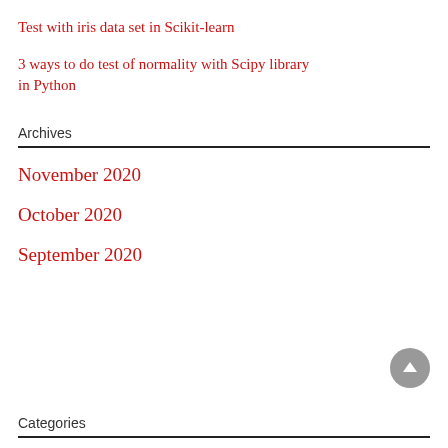Test with iris data set in Scikit-learn
3 ways to do test of normality with Scipy library in Python
Archives
November 2020
October 2020
September 2020
Categories